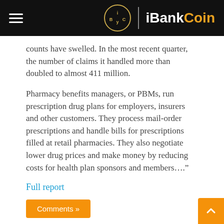iBankCoin
counts have swelled. In the most recent quarter, the number of claims it handled more than doubled to almost 411 million.
Pharmacy benefits managers, or PBMs, run prescription drug plans for employers, insurers and other customers. They process mail-order prescriptions and handle bills for prescriptions filled at retail pharmacies. They also negotiate lower drug prices and make money by reducing costs for health plan sponsors and members…."
Full report
Comments »
$MDT POSTS BETTER THAN EXPECTED EARNINGS, STOCK OFF SLIGHTLY